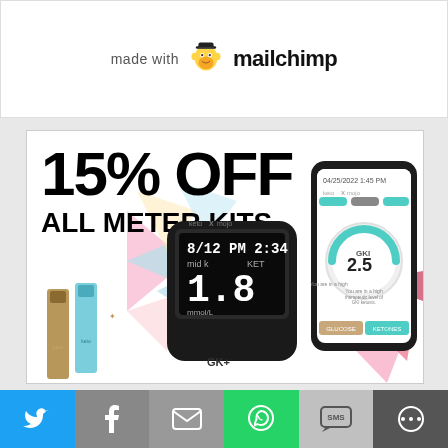[Figure (logo): Made with Mailchimp logo — chimp icon alongside bold 'mailchimp' text with 'made with' prefix]
[Figure (infographic): 15% OFF ALL METER KITS promotional ad for Keto-Mojo GK+ blood glucose and ketone meter. Shows meter device displaying 8/12 2:34 mid k, KET 1.8 mmol/L, alongside a smartphone showing GKI 2.5 reading in the Keto-Mojo app. Colorful geometric triangle background. Test strips visible on the left.]
[Figure (infographic): Social sharing bar with six icons: Twitter (blue), Facebook (gray), Email (gray), WhatsApp (green), SMS (silver), and a circular share icon (dark gray)]